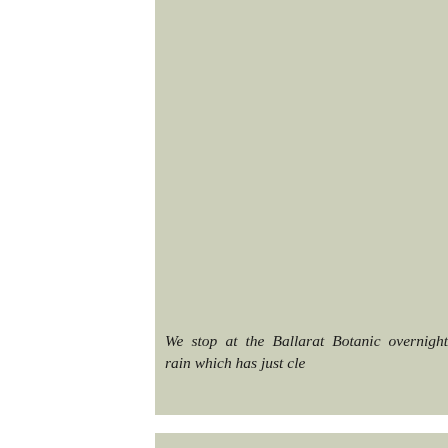[Figure (photo): Large beige-green (sage/khaki) colored rectangular panel occupying the right two-thirds of the page, representing a photograph or image background.]
We stop at the Ballarat Botanic overnight rain which has just cle